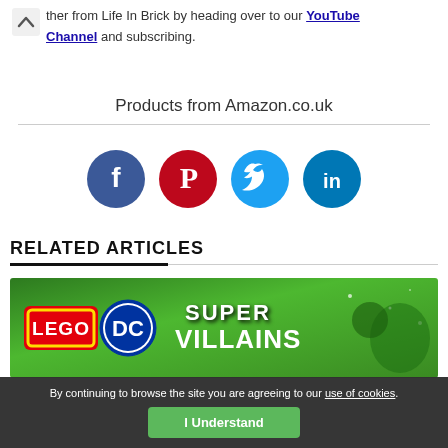ther from Life In Brick by heading over to our YouTube Channel and subscribing.
Products from Amazon.co.uk
[Figure (infographic): Social media icons: Facebook (dark blue circle with f), Pinterest (red circle with P), Twitter (light blue circle with bird), LinkedIn (teal circle with in)]
RELATED ARTICLES
[Figure (photo): LEGO DC Super Villains banner with green background showing LEGO logo, DC logo and Super Villains title text]
By continuing to browse the site you are agreeing to our use of cookies.
I Understand